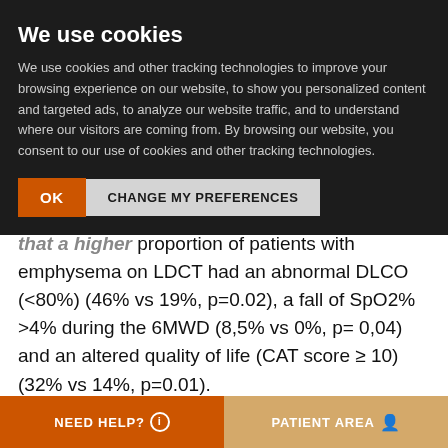[Figure (screenshot): Cookie consent dialog overlay on a medical website. The dialog has a dark background with 'We use cookies' title in white bold text, a paragraph of cookie policy text in grey, and two buttons: 'OK' (orange) and 'CHANGE MY PREFERENCES' (light grey). Behind the overlay, partially visible article text about emphysema, DLCO, SpO2%, 6MWD, CAT score results. At the bottom a footer bar with 'NEED HELP?' on orange background and 'PATIENT AREA' on tan background.]
We use cookies
We use cookies and other tracking technologies to improve your browsing experience on our website, to show you personalized content and targeted ads, to analyze our website traffic, and to understand where our visitors are coming from. By browsing our website, you consent to our use of cookies and other tracking technologies.
proportion of patients with emphysema on LDCT had an abnormal DLCO (<80%) (46% vs 19%, p=0.02), a fall of SpO2% >4% during the 6MWD (8,5% vs 0%, p= 0,04) and an altered quality of life (CAT score ≥ 10) (32% vs 14%, p=0.01).
A detailed analysis of the CAT questionnaire items revealed that more patients with
NEED HELP?    PATIENT AREA